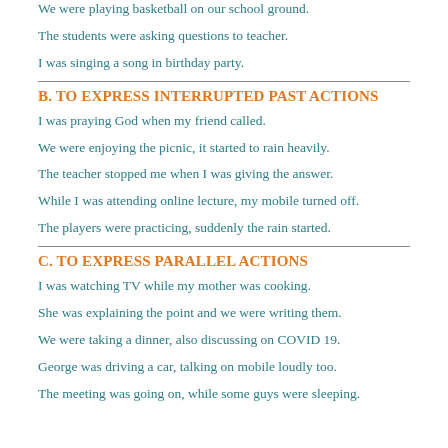We were playing basketball on our school ground.
The students were asking questions to teacher.
I was singing a song in birthday party.
b. TO EXPRESS INTERRUPTED PAST ACTIONS
I was praying God when my friend called.
We were enjoying the picnic, it started to rain heavily.
The teacher stopped me when I was giving the answer.
While I was attending online lecture, my mobile turned off.
The players were practicing, suddenly the rain started.
c. TO EXPRESS PARALLEL ACTIONS
I was watching TV while my mother was cooking.
She was explaining the point and we were writing them.
We were taking a dinner, also discussing on COVID 19.
George was driving a car, talking on mobile loudly too.
The meeting was going on, while some guys were sleeping.